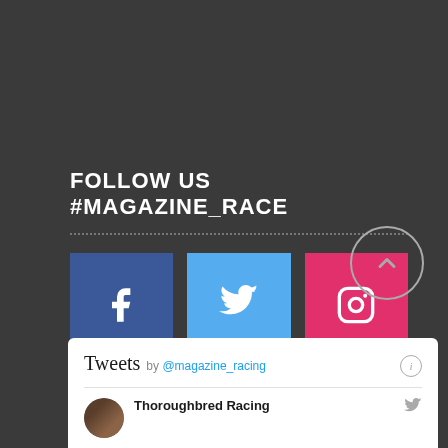FOLLOW US #MAGAZINE_RACE
[Figure (illustration): Three social media icon buttons: Facebook (blue), Twitter (light blue), Instagram (pink/red)]
OUR TWITTER FEED
[Figure (screenshot): Twitter feed widget showing 'Tweets by @magazine_racing' header and a tweet from Thoroughbred Racing account]
[Figure (illustration): Back to top circular button with upward arrow]